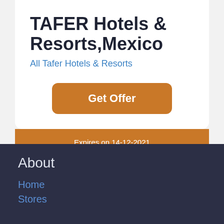TAFER Hotels & Resorts,Mexico
All Tafer Hotels & Resorts
Get Offer
Expires on 14-12-2021
About
Home
Stores